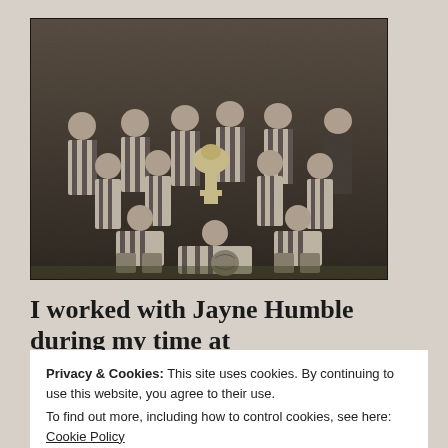[Figure (photo): Black and white vintage photograph of a football team posing with a trophy. Multiple rows of players in striped jerseys, with some seated on the ground in front.]
I worked with Jayne Humble during my time at Northumberland and she's
Privacy & Cookies: This site uses cookies. By continuing to use this website, you agree to their use. To find out more, including how to control cookies, see here: Cookie Policy
Close and accept
internal comms and it's a skills that's increasingly